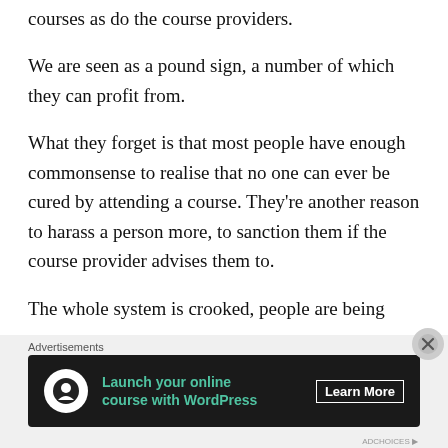courses as do the course providers.
We are seen as a pound sign, a number of which they can profit from.
What they forget is that most people have enough commonsense to realise that no one can ever be cured by attending a course. They’re another reason to harass a person more, to sanction them if the course provider advises them to.
The whole system is crooked, people are being
[Figure (screenshot): Advertisement banner with dark background showing 'Launch your online course with WordPress' with a Learn More button and a tree/person icon]